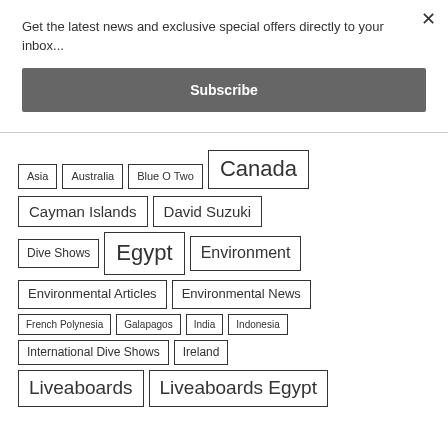Get the latest news and exclusive special offers directly to your inbox...
Subscribe
Asia
Australia
Blue O Two
Canada
Cayman Islands
David Suzuki
Dive Shows
Egypt
Environment
Environmental Articles
Environmental News
French Polynesia
Galapagos
India
Indonesia
International Dive Shows
Ireland
Liveaboards
Liveaboards Egypt